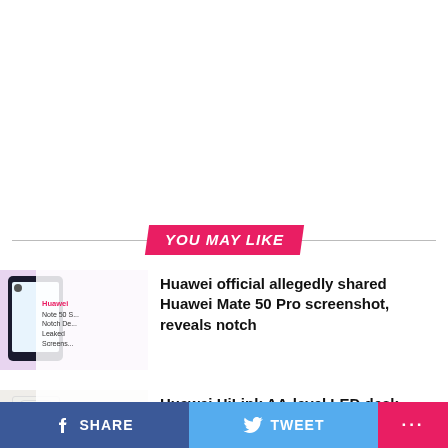YOU MAY LIKE
[Figure (photo): Thumbnail image for Huawei Mate 50 Pro article showing phone with notch and text overlay]
Huawei official allegedly shared Huawei Mate 50 Pro screenshot, reveals notch
[Figure (photo): Thumbnail image for Huawei HiLink LED desk lamp article showing white lamp]
Huawei HiLink AA-level LED desk lamp now available at just 2.91 USD
SHARE   TWEET   ...